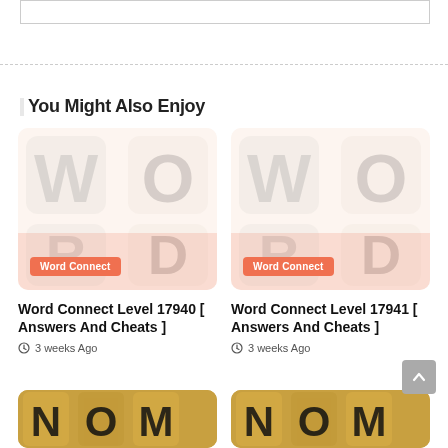[Figure (other): Partial white box with border at top of page]
You Might Also Enjoy
[Figure (illustration): Word Connect game tile image with orange badge labeled 'Word Connect']
Word Connect Level 17940 [ Answers And Cheats ]
3 weeks Ago
[Figure (illustration): Word Connect game tile image with orange badge labeled 'Word Connect']
Word Connect Level 17941 [ Answers And Cheats ]
3 weeks Ago
[Figure (photo): Partial bottom image of word game tiles in golden/yellow color]
[Figure (photo): Partial bottom image of word game tiles in golden/yellow color]